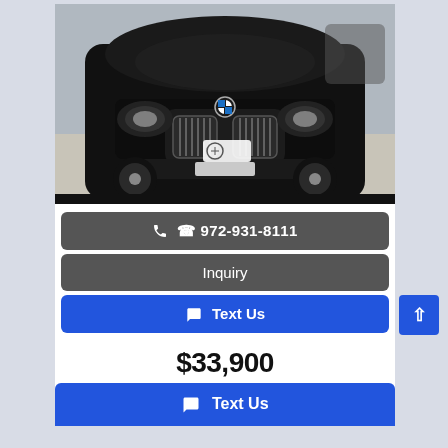[Figure (photo): Black BMW 2 Series Gran Coupe front view in dealership parking lot]
📞 972-931-8111
Inquiry
💬 Text Us
$33,900
💬 Text Us